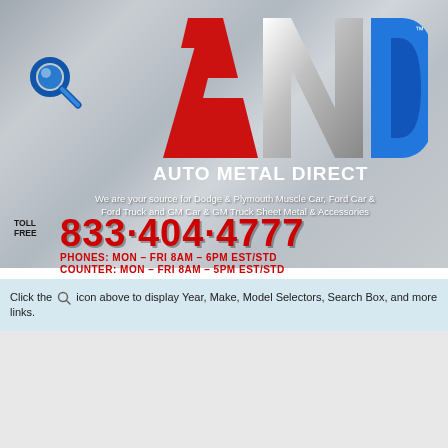[Figure (logo): Auto Metal Direct (AMD) logo with large stylized red, silver, and blue letters A, N, D on brushed metal background with search icon]
We are your source for Dodge & Plymouth Muscle Car, Ford Car & Ford Truck and GM Car & GM Truck Sheet Metal & Accessories
TOLL FREE 833·404·4777
PHONES: MON – FRI 8AM – 6PM EST/STD
COUNTER: MON – FRI 8AM – 5PM EST/STD
Click the icon above to display Year, Make, Model Selectors, Search Box, and more links.
[Figure (logo): Small Auto Metal Direct logo]
[Figure (photo): Product photo of a ribbed metal floor pan / bed floor panel for a truck or muscle car]